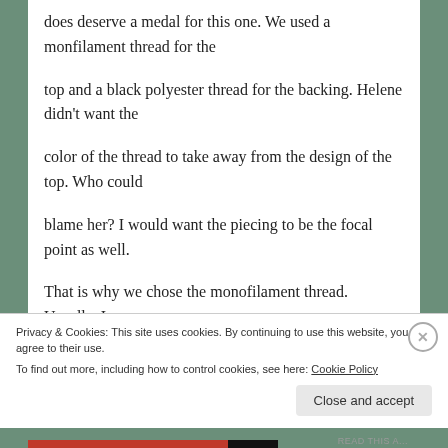does deserve a medal for this one.  We used a monfilament thread for the
top and a black polyester thread for the backing. Helene didn't want the
color of the thread to take away from the design of the top. Who could
blame her?  I would want the piecing to be the focal  point as well.
That is why we chose the monofilament thread. Usually, I
Privacy & Cookies: This site uses cookies. By continuing to use this website, you agree to their use. To find out more, including how to control cookies, see here: Cookie Policy
Close and accept